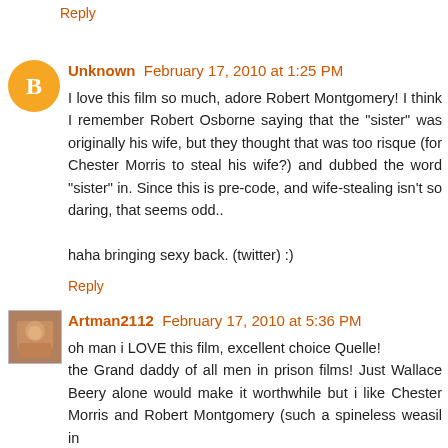Reply
Unknown  February 17, 2010 at 1:25 PM
I love this film so much, adore Robert Montgomery! I think I remember Robert Osborne saying that the "sister" was originally his wife, but they thought that was too risque (for Chester Morris to steal his wife?) and dubbed the word "sister" in. Since this is pre-code, and wife-stealing isn't so daring, that seems odd..

haha bringing sexy back. (twitter) :)
Reply
Artman2112  February 17, 2010 at 5:36 PM
oh man i LOVE this film, excellent choice Quelle!
the Grand daddy of all men in prison films! Just Wallace Beery alone would make it worthwhile but i like Chester Morris and Robert Montgomery (such a spineless weasil in